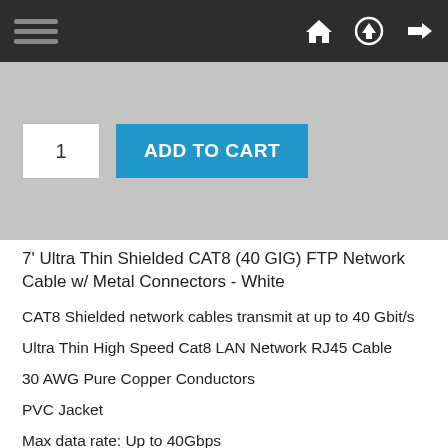Navigation bar with hamburger menu and icons
[Figure (screenshot): Add to cart area with quantity box showing '1' and blue 'ADD TO CART' button on grey background]
7' Ultra Thin Shielded CAT8 (40 GIG) FTP Network Cable w/ Metal Connectors - White
CAT8 Shielded network cables transmit at up to 40 Gbit/s
Ultra Thin High Speed Cat8 LAN Network RJ45 Cable
30 AWG Pure Copper Conductors
PVC Jacket
Max data rate: Up to 40Gbps
F/FTP Overall Foil and Individually Foil Shielded Pairs
Overview: